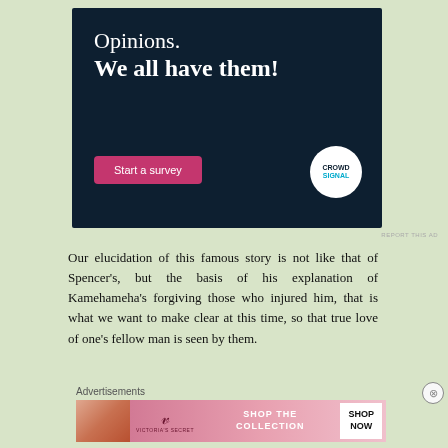[Figure (infographic): Dark navy blue advertisement banner with text 'Opinions. We all have them!' and a pink 'Start a survey' button, plus CrowdSignal logo circle in bottom right.]
REPORT THIS AD
Our elucidation of this famous story is not like that of Spencer's, but the basis of his explanation of Kamehameha's forgiving those who injured him, that is what we want to make clear at this time, so that true love of one's fellow man is seen by them.
Advertisements
[Figure (infographic): Victoria's Secret advertisement banner with pink gradient background, model photo, VS logo, 'SHOP THE COLLECTION' text, and 'SHOP NOW' button.]